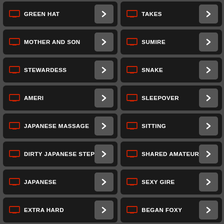GREEN HAT
TAKES
MOTHER AND SON
SUMIRE
STEWARDESS
SNAKE
AMERI
SLEEPOVER
JAPANESE MASSAGE
SITTING
DIRTY JAPANESE STEP
SHARED AMATEUR
JAPANESE
SEXY GIRE
EXTRA HARD
BEGAN FOXY